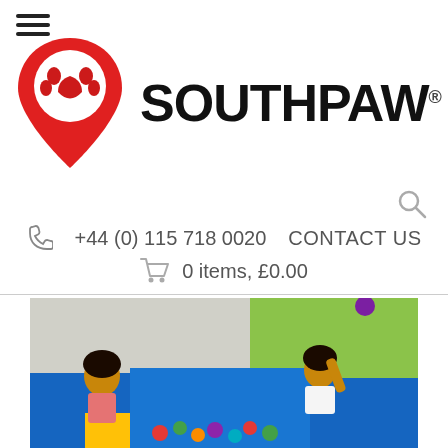[Figure (logo): Southpaw logo: red map pin with paw print inside, next to bold black SOUTHPAW text with registered trademark symbol]
+44 (0) 115 718 0020   CONTACT US
0 items, £0.00
[Figure (photo): Two children playing in a blue padded ball pit with colorful balls, against a green and grey wall background]